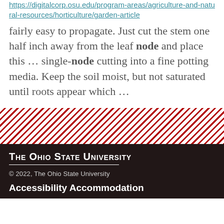https://digitalcorp.osu.edu/program-areas/agriculture-and-natural-resources/horticulture/garden-article
fairly easy to propagate. Just cut the stem one half inch away from the leaf node and place this ... single-node cutting into a fine potting media. Keep the soil moist, but not saturated until roots appear which ...
[Figure (illustration): Diagonal red and white stripe decorative band]
THE OHIO STATE UNIVERSITY
© 2022, The Ohio State University
Accessibility Accommodation